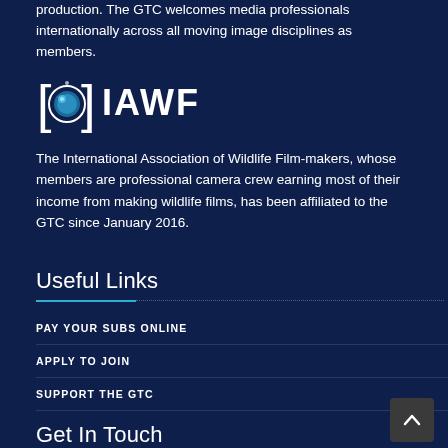production. The GTC welcomes media professionals internationally across all moving image disciplines as members.
[Figure (logo): IAWF logo: camera lens icon with brackets and IAWF text in white on dark blue background]
The International Association of Wildlife Film-makers, whose members are professional camera crew earning most of their income from making wildlife films, has been affiliated to the GTC since January 2016.
Useful Links
PAY YOUR SUBS ONLINE
APPLY TO JOIN
SUPPORT THE GTC
Get In Touch